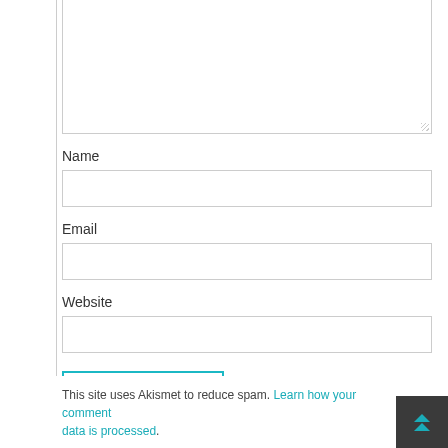[Figure (screenshot): Textarea input box (comment field) with resize handle in bottom right corner]
Name
[Figure (screenshot): Name text input field]
Email
[Figure (screenshot): Email text input field]
Website
[Figure (screenshot): Website text input field]
[Figure (screenshot): Post Comment button with teal border]
This site uses Akismet to reduce spam. Learn how your comment data is processed.